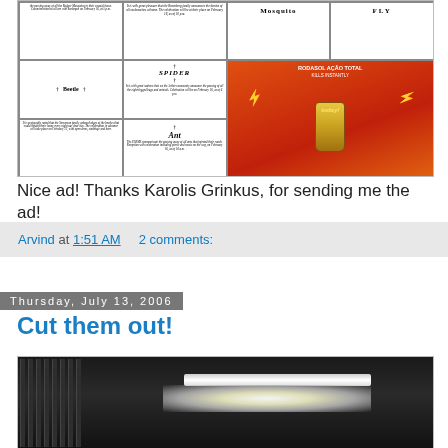[Figure (photo): Newspaper-style obituary advertisement grid showing mock death notices for insects (Beetle, Mosquito, Spider, Ant, Fly) alongside a red Todays-brand insecticide spray advertisement with lightning bolts - a creative ad campaign for insect killer]
Nice ad! Thanks Karolis Grinkus, for sending me the ad!
Arvind at 1:51 AM    2 comments:
Thursday, July 13, 2006
Cut them out!
[Figure (photo): Dark interior corridor/hallway photograph with metal bars or fence on the left side and a bright fluorescent light fixture in the background creating stark contrast]